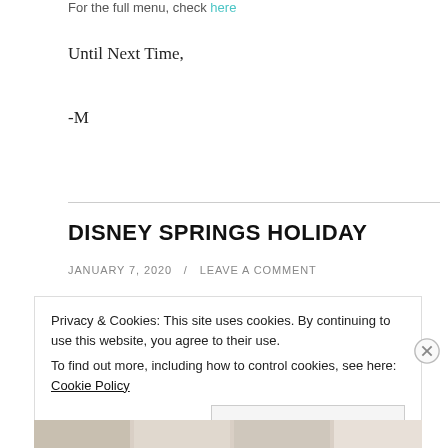For the full menu, check here
Until Next Time,
-M
DISNEY SPRINGS HOLIDAY
JANUARY 7, 2020 / LEAVE A COMMENT
Privacy & Cookies: This site uses cookies. By continuing to use this website, you agree to their use.
To find out more, including how to control cookies, see here: Cookie Policy
Close and accept